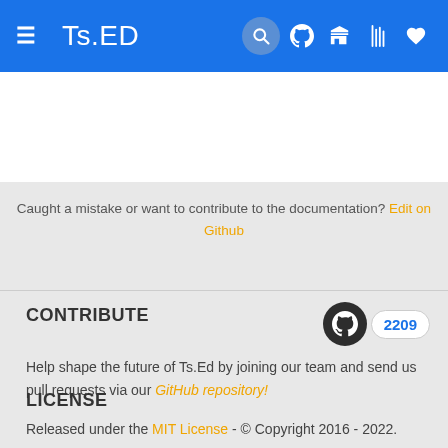Ts.ED
Caught a mistake or want to contribute to the documentation? Edit on Github
CONTRIBUTE
Help shape the future of Ts.Ed by joining our team and send us pull requests via our GitHub repository!
LICENSE
Released under the MIT License - © Copyright 2016 - 2022.